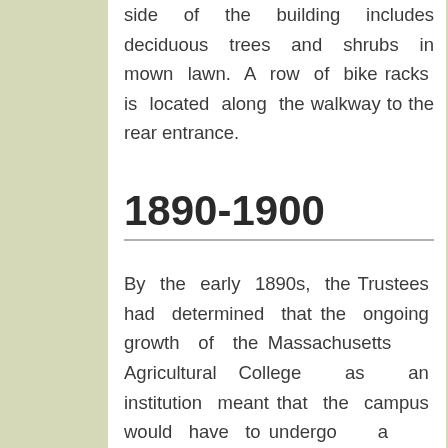side of the building includes deciduous trees and shrubs in mown lawn. A row of bike racks is located along the walkway to the rear entrance.
1890-1900
By the early 1890s, the Trustees had determined that the ongoing growth of the Massachusetts Agricultural College as an institution meant that the campus would have to undergo a substantial reorganization in terms of land use. Additional dormitories and lectures halls were badly